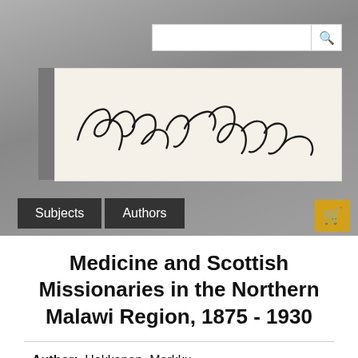[Figure (logo): Edwin Mellen Press logo — stylized cursive signature reading 'Edwin Mellen' on cream/off-white background]
Subjects   Authors
Medicine and Scottish Missionaries in the Northern Malawi Region, 1875 - 1930
Author: Hokkanen, Markku
Year: 2007